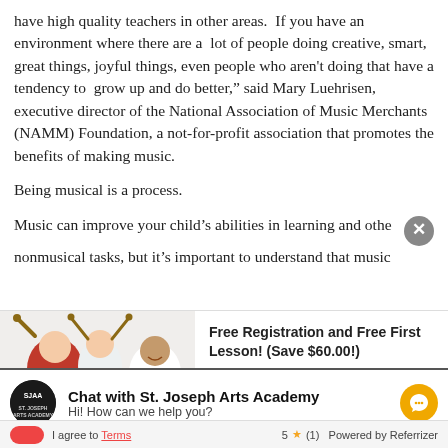have high quality teachers in other areas.  If you have an environment where there are a  lot of people doing creative, smart, great things, joyful things, even people who aren't doing that have a tendency to grow up and do better,” said Mary Luehrisen, executive director of the National Association of Music Merchants (NAMM) Foundation, a not-for-profit association that promotes the benefits of making music.
Being musical is a process.
Music can improve your child’s abilities in learning and other nonmusical tasks, but it’s important to understand that music
[Figure (photo): Three children happily playing drums, smiling and energetic]
Free Registration and Free First Lesson! (Save $60.00!)
Expires in 24 days
Available 2
Chat with St. Joseph Arts Academy
Hi! How can we help you?
I agree to Terms   5 ★ (1)   Powered by Referrizer